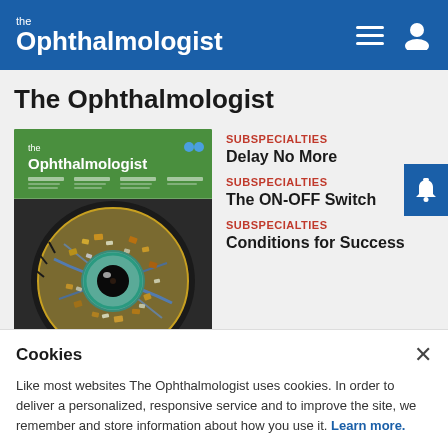the Ophthalmologist
The Ophthalmologist
[Figure (photo): Magazine cover of The Ophthalmologist featuring a colorful artistic eye illustration on green background]
SUBSPECIALTIES
Delay No More
SUBSPECIALTIES
The ON-OFF Switch
SUBSPECIALTIES
Conditions for Success
Cookies
Like most websites The Ophthalmologist uses cookies. In order to deliver a personalized, responsive service and to improve the site, we remember and store information about how you use it. Learn more.